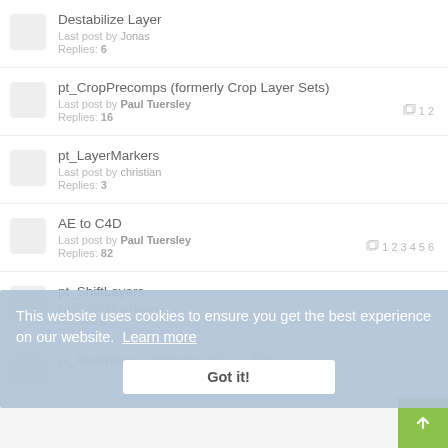Destabilize Layer
Last post by Jonas
Replies: 6
pt_CropPrecomps (formerly Crop Layer Sets)
Last post by Paul Tuersley
Replies: 16
1 2
pt_LayerMarkers
Last post by christian
Replies: 3
AE to C4D
Last post by Paul Tuersley
Replies: 82
1 2 3 4 5 6
pt_ShiftLayers
Last post by jackson
Replies: 8
This website uses cookies to ensure you get the best experience on our website. Learn more
Got it!
pt_Multiplexer (formerly PSD to 3D)